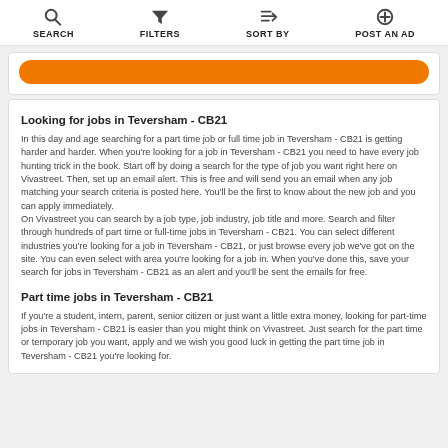SEARCH   FILTERS   SORT BY   POST AN AD
[Figure (other): Orange rounded button/banner strip]
Looking for jobs in Teversham - CB21
In this day and age searching for a part time job or full time job in Teversham - CB21 is getting harder and harder. When you're looking for a job in Teversham - CB21 you need to have every job hunting trick in the book. Start off by doing a search for the type of job you want right here on Vivastreet. Then, set up an email alert. This is free and will send you an email when any job matching your search criteria is posted here. You'll be the first to know about the new job and you can apply immediately.
On Vivastreet you can search by a job type, job industry, job title and more. Search and filter through hundreds of part time or full-time jobs in Teversham - CB21. You can select different industries you're looking for a job in Teversham - CB21, or just browse every job we've got on the site. You can even select with area you're looking for a job in. When you've done this, save your search for jobs in Teversham - CB21 as an alert and you'll be sent the emails for free.
Part time jobs in Teversham - CB21
If you're a student, intern, parent, senior citizen or just want a little extra money, looking for part-time jobs in Teversham - CB21 is easier than you might think on Vivastreet. Just search for the part time or temporary job you want, apply and we wish you good luck in getting the part time job in Teversham - CB21 you're looking for.